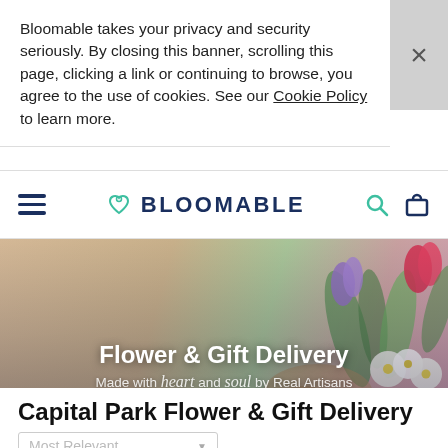Bloomable takes your privacy and security seriously. By closing this banner, scrolling this page, clicking a link or continuing to browse, you agree to the use of cookies. See our Cookie Policy to learn more.
BLOOMABLE
[Figure (screenshot): Hero banner image with flowers (tulips, roses) arranged on a wooden surface with a green and pink color scheme. Text overlay reads 'Flower & Gift Delivery' and 'Made with heart and soul by Real Artisans']
Capital Park Flower & Gift Delivery
Most Relevant